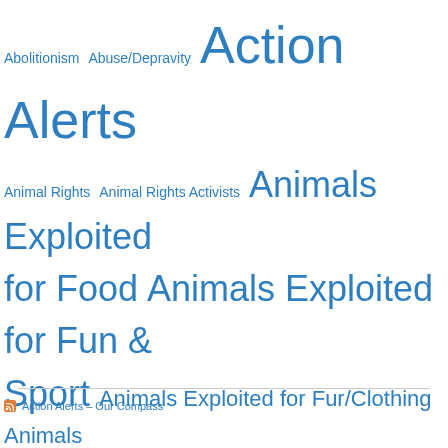[Figure (infographic): Tag cloud of topics/categories in blue, varying sizes indicating frequency/importance. Tags include: Abolitionism, Abuse/Depravity, Action Alerts, Animal Rights, Animal Rights Activists, Animals Exploited for Food, Animals Exploited for Fun & Sport, Animals Exploited for Fur/Clothing, Animals Exploited for Ritual, Capitalism/Poverty, Carnism, Censorship, Children's Rights, Companion Animals, Compassion, Empathy, Environment, Feminism, Government, Health, Humane Myth, Human Rights, Hypocrisy and Duplicity, Legal & Law Issues, Morality, Oppression, Our Compass, Politics, Profit vs. Decency, Racism, Religion, Rescued Animals, Speciesism, Veganism, Vivisection / Testing.]
Action Alerts – Our Compass